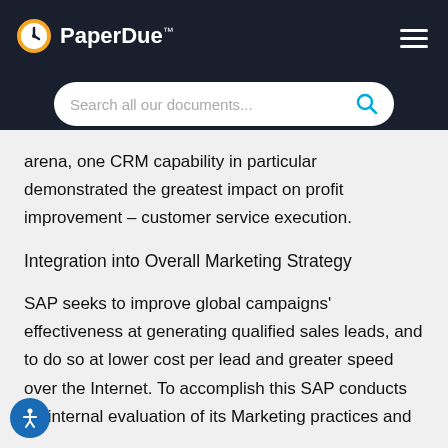PaperDue™
arena, one CRM capability in particular demonstrated the greatest impact on profit improvement – customer service execution.
Integration into Overall Marketing Strategy
SAP seeks to improve global campaigns' effectiveness at generating qualified sales leads, and to do so at lower cost per lead and greater speed over the Internet. To accomplish this SAP conducts an internal evaluation of its Marketing practices and